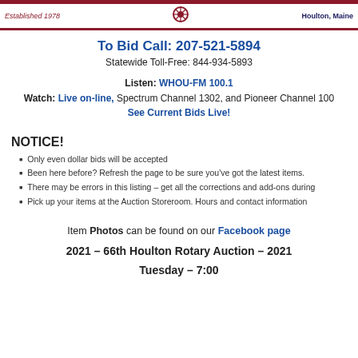Established 1978 | Houlton, Maine
To Bid Call: 207-521-5894
Statewide Toll-Free: 844-934-5893
Listen: WHOU-FM 100.1
Watch: Live on-line, Spectrum Channel 1302, and Pioneer Channel 100
See Current Bids Live!
NOTICE!
Only even dollar bids will be accepted
Been here before?  Refresh the page to be sure you've got the latest items.
There may be errors in this listing – get all the corrections and add-ons during
Pick up your items at the Auction Storeroom.  Hours and contact information
Item Photos can be found on our Facebook page
2021 – 66th Houlton Rotary Auction – 2021
Tuesday – 7:00